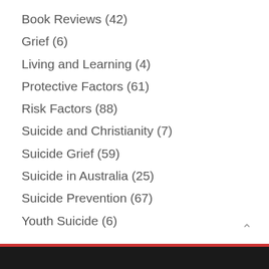Book Reviews (42)
Grief (6)
Living and Learning (4)
Protective Factors (61)
Risk Factors (88)
Suicide and Christianity (7)
Suicide Grief (59)
Suicide in Australia (25)
Suicide Prevention (67)
Youth Suicide (6)